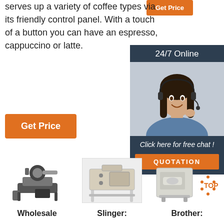serves up a variety of coffee types via its friendly control panel. With a touch of a button you can have an espresso, cappuccino or latte.
[Figure (other): Orange 'Get Price' button at top right]
[Figure (other): 24/7 Online chat widget with woman wearing headset, 'Click here for free chat!' text and QUOTATION button]
[Figure (other): Orange 'Get Price' button]
[Figure (photo): Wholesale coffee roaster machine]
[Figure (photo): Slinger machine on stand]
[Figure (photo): Brother machine with TOP logo badge]
Wholesale
Slinger:
Brother: